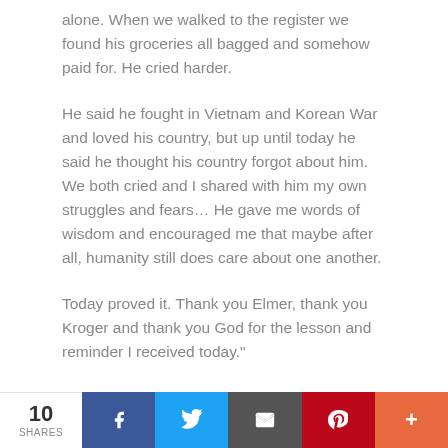alone. When we walked to the register we found his groceries all bagged and somehow paid for. He cried harder.
He said he fought in Vietnam and Korean War and loved his country, but up until today he said he thought his country forgot about him. We both cried and I shared with him my own struggles and fears… He gave me words of wisdom and encouraged me that maybe after all, humanity still does care about one another.
Today proved it. Thank you Elmer, thank you Kroger and thank you God for the lesson and reminder I received today."
10 SHARES | Facebook | Twitter | Email | Pinterest | More